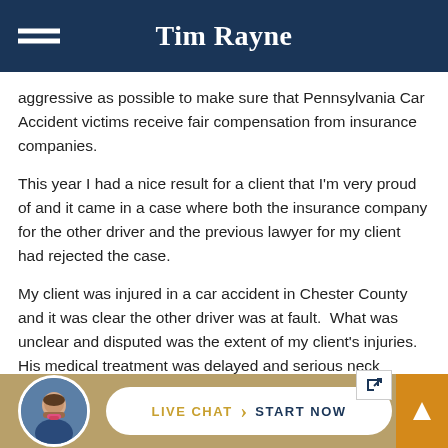Tim Rayne
aggressive as possible to make sure that Pennsylvania Car Accident victims receive fair compensation from insurance companies.
This year I had a nice result for a client that I'm very proud of and it came in a case where both the insurance company for the other driver and the previous lawyer for my client had rejected the case.
My client was injured in a car accident in Chester County and it was clear the other driver was at fault.  What was unclear and disputed was the extent of my client's injuries.  His medical treatment was delayed and serious neck injuries that required surgery were not diagnosed until months after the collision.
[Figure (photo): Headshot of Tim Rayne, a man with glasses and a colorful bow tie, in a circular avatar]
LIVE CHAT  START NOW